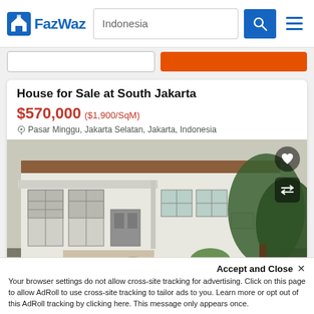FazWaz | Indonesia
House for Sale at South Jakarta
$570,000 ($1,900/SqM)
Pasar Minggu, Jakarta Selatan, Jakarta, Indonesia
[Figure (photo): Exterior photo of a white house with large French windows, covered porch, red tile roof, and lush greenery]
Accept and Close ✕
Your browser settings do not allow cross-site tracking for advertising. Click on this page to allow AdRoll to use cross-site tracking to tailor ads to you. Learn more or opt out of this AdRoll tracking by clicking here. This message only appears once.